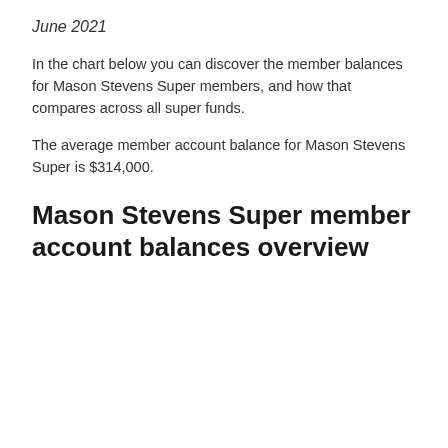June 2021
In the chart below you can discover the member balances for Mason Stevens Super members, and how that compares across all super funds.
The average member account balance for Mason Stevens Super is $314,000.
Mason Stevens Super member account balances overview